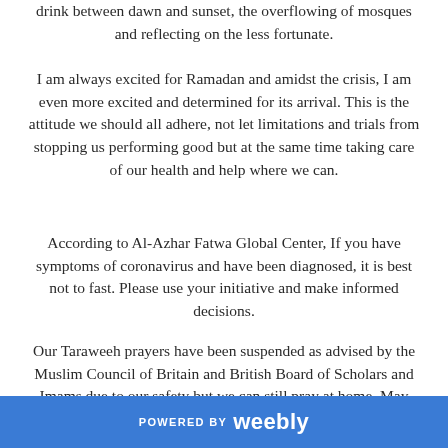drink between dawn and sunset, the overflowing of mosques and reflecting on the less fortunate.
I am always excited for Ramadan and amidst the crisis, I am even more excited and determined for its arrival. This is the attitude we should all adhere, not let limitations and trials from stopping us performing good but at the same time taking care of our health and help where we can.
According to Al-Azhar Fatwa Global Center, If you have symptoms of coronavirus and have been diagnosed, it is best not to fast. Please use your initiative and make informed decisions.
Our Taraweeh prayers have been suspended as advised by the Muslim Council of Britain and British Board of Scholars and Imams due to our safety but we can still pray at home. May Allah accept.
POWERED BY weebly